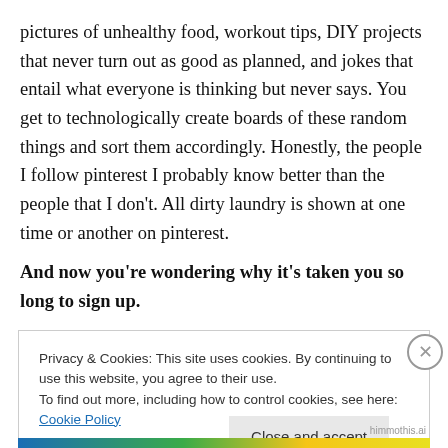pictures of unhealthy food, workout tips, DIY projects that never turn out as good as planned, and jokes that entail what everyone is thinking but never says. You get to technologically create boards of these random things and sort them accordingly. Honestly, the people I follow pinterest I probably know better than the people that I don't. All dirty laundry is shown at one time or another on pinterest.
And now you're wondering why it's taken you so long to sign up.
Privacy & Cookies: This site uses cookies. By continuing to use this website, you agree to their use.
To find out more, including how to control cookies, see here: Cookie Policy